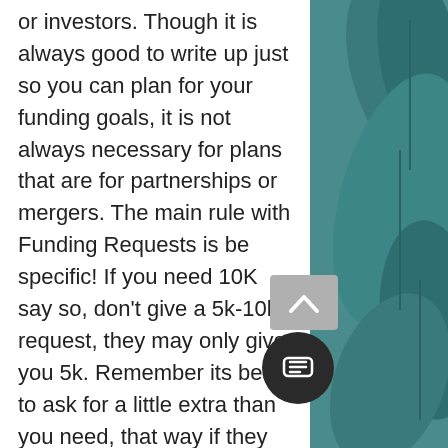or investors. Though it is always good to write up just so you can plan for your funding goals, it is not always necessary for plans that are for partnerships or mergers. The main rule with Funding Requests is be specific! If you need 10K say so, don't give a 5k-10k request, they may only give you 5k. Remember its best to ask for a little extra than you need, that way if they counter your request with an offer, it should land on what you need for your fundraising. Now, if you are approved for funding they will want to see exactly what you plan to do with it, and at what time frames you will need more funding. They, of course, will want to see when you plan to pay the back. Be sure to plan